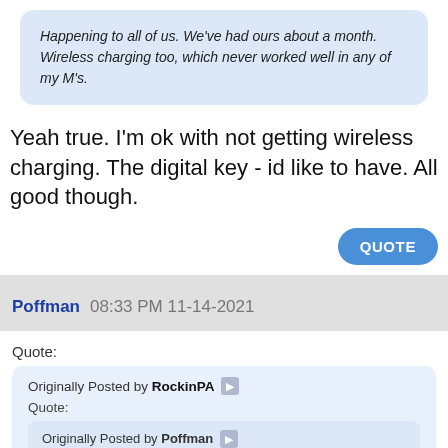Happening to all of us. We've had ours about a month. Wireless charging too, which never worked well in any of my M's.
Yeah true. I'm ok with not getting wireless charging. The digital key - id like to have. All good though.
QUOTE
Poffman 08:33 PM 11-14-2021
Quote:
Originally Posted by RockinPA
Quote:
Originally Posted by Poffman
Quote: